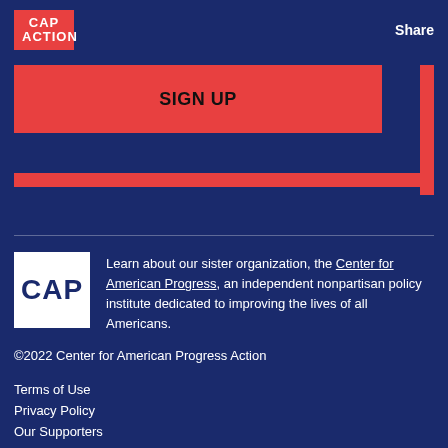CAP ACTION | Share
[Figure (logo): CAP ACTION logo in red box, top left]
Share
SIGN UP
[Figure (logo): CAP logo in white square box]
Learn about our sister organization, the Center for American Progress, an independent nonpartisan policy institute dedicated to improving the lives of all Americans.
©2022 Center for American Progress Action
Terms of Use
Privacy Policy
Our Supporters